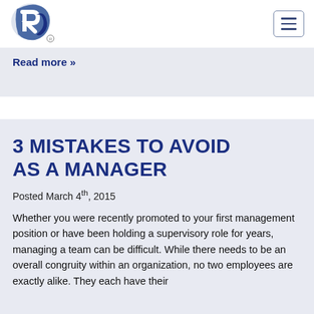[Logo: R symbol] [Hamburger menu button]
Read more »
3 MISTAKES TO AVOID AS A MANAGER
Posted March 4th, 2015
Whether you were recently promoted to your first management position or have been holding a supervisory role for years, managing a team can be difficult. While there needs to be an overall congruity within an organization, no two employees are exactly alike. They each have their